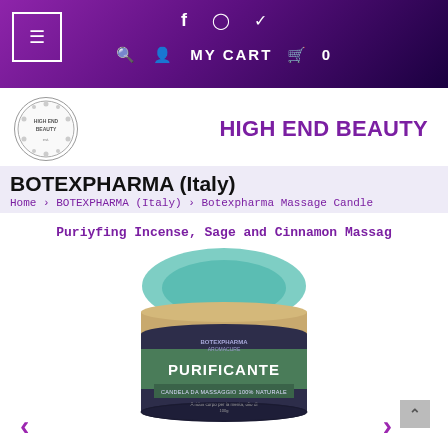f  [instagram]  [twitter]  🔍  👤  MY CART  🛍  0
[Figure (logo): High End Beauty circular logo with floral border]
HIGH END BEAUTY
BOTEXPHARMA (Italy)
Home › BOTEXPHARMA (Italy) › Botexpharma Massage Candle
Puriyfing Incense, Sage and Cinnamon Massag
[Figure (photo): Botexpharma PURIFICANTE massage candle product photo - round teal/mint colored tin container with label showing PURIFICANTE CANDELA DA MASSAGGIO 100% NATURALE]